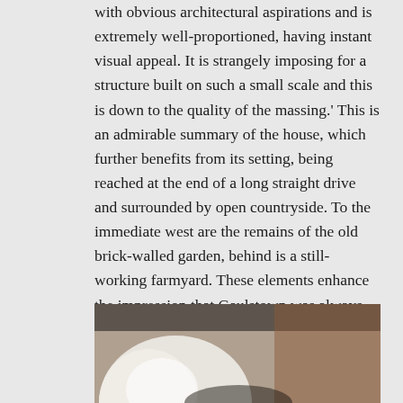with obvious architectural aspirations and is extremely well-proportioned, having instant visual appeal. It is strangely imposing for a structure built on such a small scale and this is down to the quality of the massing.' This is an admirable summary of the house, which further benefits from its setting, being reached at the end of a long straight drive and surrounded by open countryside. To the immediate west are the remains of the old brick-walled garden, behind is a still-working farmyard. These elements enhance the impression that Gaulstown was always intended as the residence of a gentleman farmer even though Casey and Rowan rightly refer to it possessing 'an aristocratic or cultivated rusticity.'
[Figure (photo): A partial indoor photograph showing what appears to be an interior architectural detail with curved white form and dark background elements.]